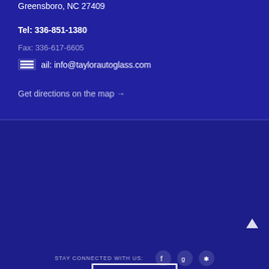Greensboro, NC 27409
Tel: 336-851-1380
Fax: 336-617-6605
Email: info@taylorautoglass.com
Get directions on the map →
[Figure (logo): Taylor Auto Glass double-T logo, white outline on dark blue background]
STAY CONNECTED WITH US:
[Figure (other): Social media icons: Facebook, Google, Yelp]